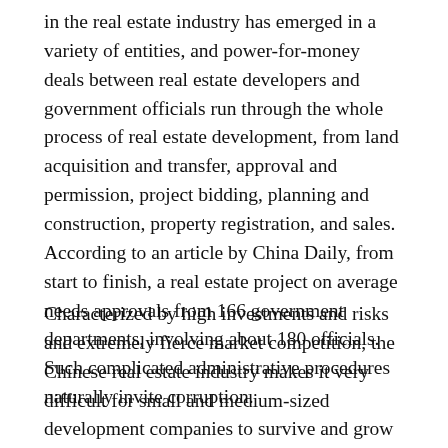in the real estate industry has emerged in a variety of entities, and power-for-money deals between real estate developers and government officials run through the whole process of real estate development, from land acquisition and transfer, approval and permission, project bidding, planning and construction, property registration, and sales. According to an article by China Daily, from start to finish, a real estate project on average needs approvals from 166 government departments, involving about 180 officials. Such complicated administrative procedures naturally invite corruption.
Characterized by high investments and risks and extremely fierce market competition, the Chinese real estate industry makes it very difficult for small and medium-sized development companies to survive and grow without the aid of government. As a result, the intertwining interests of developers and government...